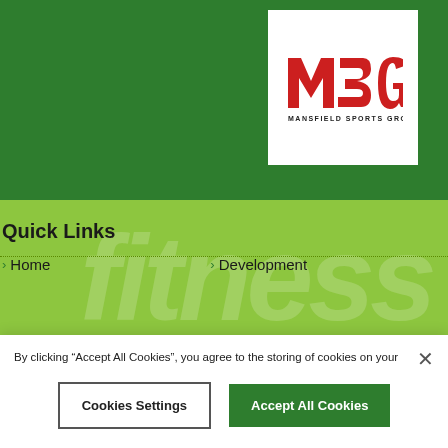[Figure (logo): MSG Mansfield Sports Group logo — red bold letters MSG above smaller text MANSFIELD SPORTS GROUP, in a white box on dark green background]
Quick Links
Home
Development
By clicking “Accept All Cookies”, you agree to the storing of cookies on your device to enhance site navigation, analyse site usage, and assist in our marketing efforts.  Cookie Policy
Cookies Settings
Accept All Cookies